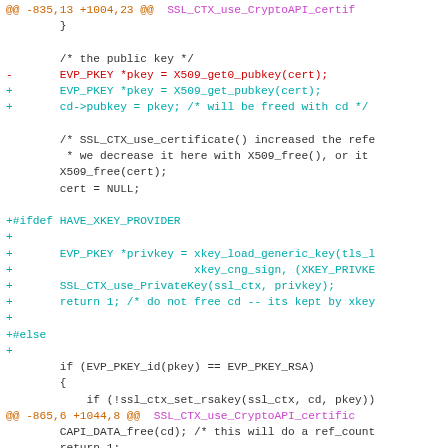[Figure (other): Git diff output showing source code changes in C for SSL_CTX_use_CryptoAPI_certificate function, with removed lines in red, added lines in cyan/teal, diff hunk headers in orange/purple, and context lines in dark.]